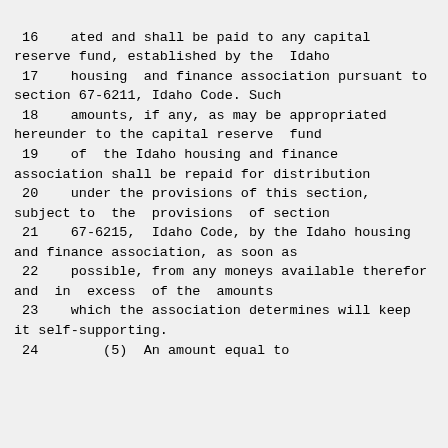16    ated and shall be paid to any capital reserve fund, established by the  Idaho
 17    housing  and finance association pursuant to section 67-6211, Idaho Code. Such
 18    amounts, if any, as may be appropriated hereunder to the capital reserve  fund
 19    of  the Idaho housing and finance association shall be repaid for distribution
 20    under the provisions of this section, subject to  the  provisions  of section
 21    67-6215,  Idaho Code, by the Idaho housing and finance association, as soon as
 22    possible, from any moneys available therefor and  in  excess  of the  amounts
 23    which the association determines will keep it self-supporting.
 24        (5)  An amount equal to